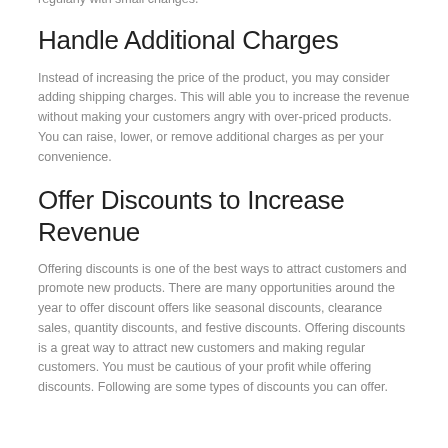regularly with small changes.
Handle Additional Charges
Instead of increasing the price of the product, you may consider adding shipping charges. This will able you to increase the revenue without making your customers angry with over-priced products. You can raise, lower, or remove additional charges as per your convenience.
Offer Discounts to Increase Revenue
Offering discounts is one of the best ways to attract customers and promote new products. There are many opportunities around the year to offer discount offers like seasonal discounts, clearance sales, quantity discounts, and festive discounts. Offering discounts is a great way to attract new customers and making regular customers. You must be cautious of your profit while offering discounts. Following are some types of discounts you can offer.